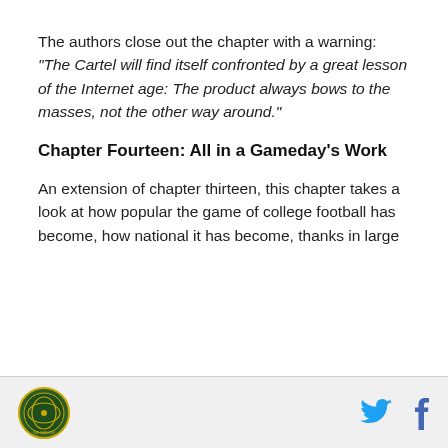The authors close out the chapter with a warning: "The Cartel will find itself confronted by a great lesson of the Internet age: The product always bows to the masses, not the other way around."
Chapter Fourteen: All in a Gameday's Work
An extension of chapter thirteen, this chapter takes a look at how popular the game of college football has become, how national it has become, thanks in large
[logo] [twitter] [facebook]